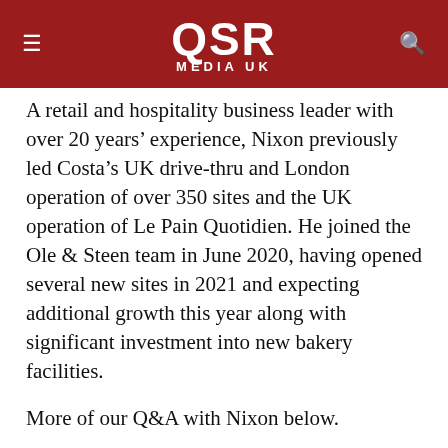QSR Media UK
A retail and hospitality business leader with over 20 years' experience, Nixon previously led Costa's UK drive-thru and London operation of over 350 sites and the UK operation of Le Pain Quotidien. He joined the Ole & Steen team in June 2020, having opened several new sites in 2021 and expecting additional growth this year along with significant investment into new bakery facilities.
More of our Q&A with Nixon below.
QSR Media: What is the state of the QSR/fast casual restaurant industry from your point of view?
Nixon: It is extremely positive to see London bouncing back and I believe there is more to come.